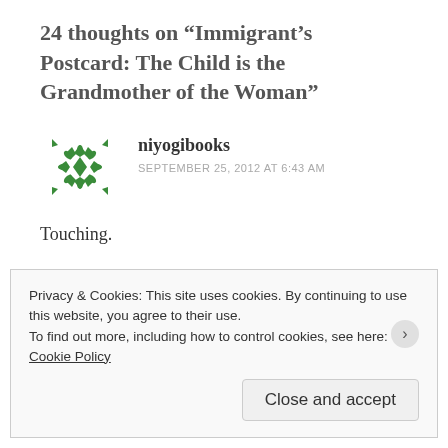24 thoughts on “Immigrant’s Postcard: The Child is the Grandmother of the Woman”
niyogibooks
SEPTEMBER 25, 2012 AT 6:43 AM
Touching.
Reply
Privacy & Cookies: This site uses cookies. By continuing to use this website, you agree to their use.
To find out more, including how to control cookies, see here: Cookie Policy
Close and accept